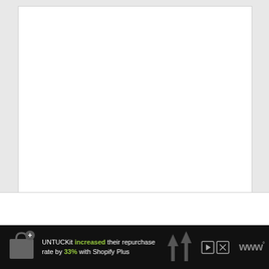[Figure (other): Large white content area box on grey background, mostly blank/empty white space representing a webpage content area]
[Figure (infographic): Advertisement banner for Shopify Plus featuring the Shopify bag logo with a plus sign, text reading 'UNTUCKit increased their repurchase rate by 33% with Shopify Plus' with 'increased' and '33%' in green, upward-pointing grey arrows graphic, ad control buttons (play/close), and a stylized triple-W logo on dark/black background]